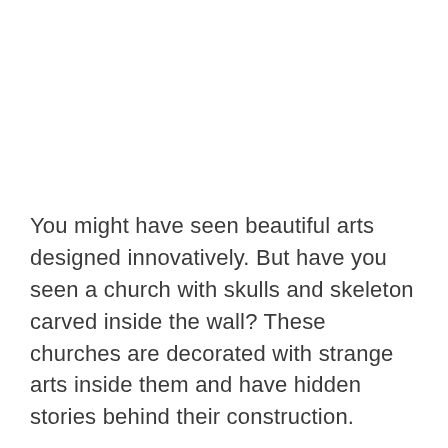You might have seen beautiful arts designed innovatively. But have you seen a church with skulls and skeleton carved inside the wall? These churches are decorated with strange arts inside them and have hidden stories behind their construction.
During the war, thousands of people lost their life. At the time, there was less space to bury the dead bodies. Therefore, several temporary burials were built. When the skeleton appeared, they created